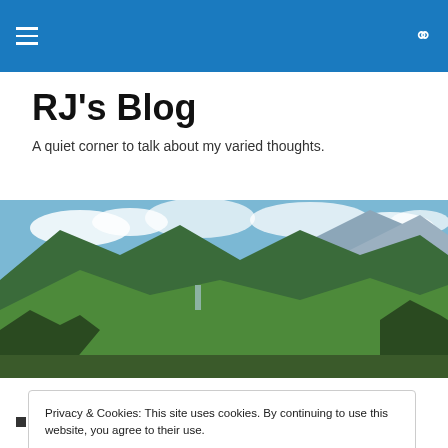RJ's Blog — navigation bar with hamburger menu and search icon
RJ's Blog
A quiet corner to talk about my varied thoughts.
[Figure (photo): Panoramic mountain landscape with green forested hills, clouds, and blue sky.]
Privacy & Cookies: This site uses cookies. By continuing to use this website, you agree to their use.
To find out more, including how to control cookies, see here: Cookie Policy
I do quite like these little random statements about the